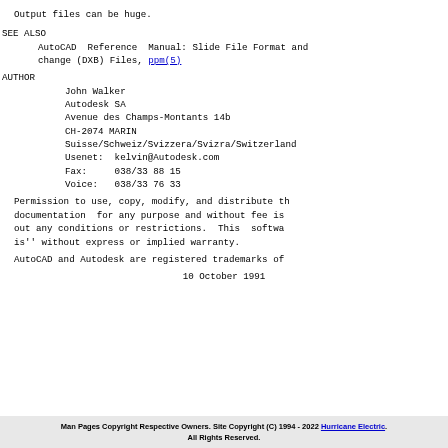Output files can be huge.
SEE ALSO
AutoCAD  Reference  Manual: Slide File Format and change (DXB) Files, ppm(5)
AUTHOR
John Walker
Autodesk SA
Avenue des Champs-Montants 14b
CH-2074 MARIN
Suisse/Schweiz/Svizzera/Svizra/Switzerland
Usenet:  kelvin@Autodesk.com
Fax:     038/33 88 15
Voice:   038/33 76 33
Permission to use, copy, modify, and distribute th documentation  for any purpose and without fee is out any conditions or restrictions.  This  softwa is'' without express or implied warranty.
AutoCAD and Autodesk are registered trademarks of
10 October 1991
Man Pages Copyright Respective Owners. Site Copyright (C) 1994 - 2022 Hurricane Electric. All Rights Reserved.